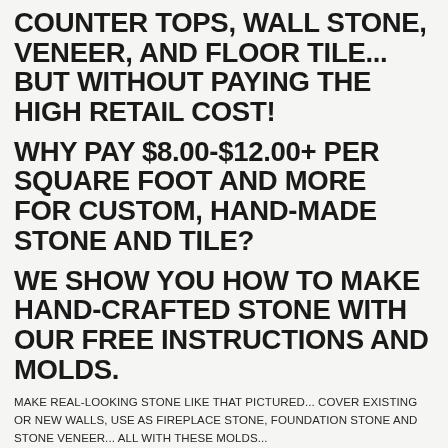COUNTER TOPS, WALL STONE, VENEER, AND FLOOR TILE... BUT WITHOUT PAYING THE HIGH RETAIL COST!
WHY PAY $8.00-$12.00+ PER SQUARE FOOT AND MORE FOR CUSTOM, HAND-MADE STONE AND TILE?
WE SHOW YOU HOW TO MAKE HAND-CRAFTED STONE WITH OUR FREE INSTRUCTIONS AND MOLDS.
MAKE REAL-LOOKING STONE LIKE THAT PICTURED... COVER EXISTING OR NEW WALLS, USE AS FIREPLACE STONE, FOUNDATION STONE AND STONE VENEER... ALL WITH THESE MOLDS...